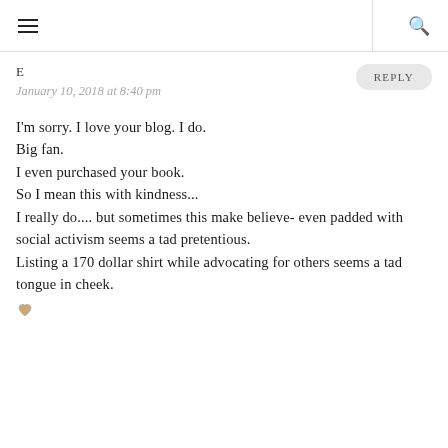≡  🔍
E
January 10, 2018 at 8:40 pm
REPLY
I'm sorry. I love your blog. I do.
Big fan.
I even purchased your book.
So I mean this with kindness...
I really do.... but sometimes this make believe- even padded with social activism seems a tad pretentious.
Listing a 170 dollar shirt while advocating for others seems a tad tongue in cheek.
♥